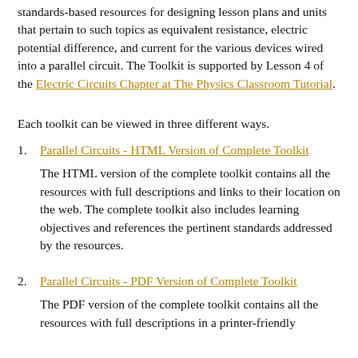standards-based resources for designing lesson plans and units that pertain to such topics as equivalent resistance, electric potential difference, and current for the various devices wired into a parallel circuit. The Toolkit is supported by Lesson 4 of the Electric Circuits Chapter at The Physics Classroom Tutorial.
Each toolkit can be viewed in three different ways.
1. Parallel Circuits - HTML Version of Complete Toolkit
The HTML version of the complete toolkit contains all the resources with full descriptions and links to their location on the web. The complete toolkit also includes learning objectives and references the pertinent standards addressed by the resources.
2. Parallel Circuits - PDF Version of Complete Toolkit
The PDF version of the complete toolkit contains all the resources with full descriptions in a printer-friendly